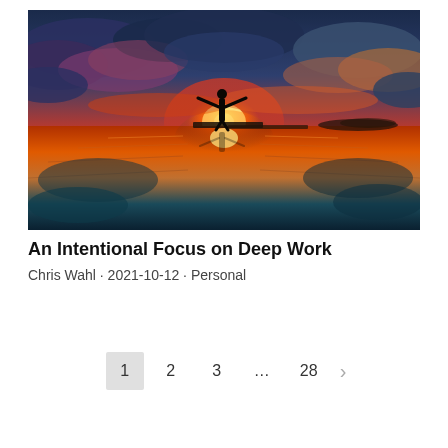[Figure (photo): A dramatic sunset photo over a reflective beach/water surface. A silhouetted person stands with arms outstretched on what appears to be a dock or flat surface, with vivid orange, red, teal, and purple clouds reflected in the water below.]
An Intentional Focus on Deep Work
Chris Wahl · 2021-10-12 · Personal
1  2  3  …  28  >